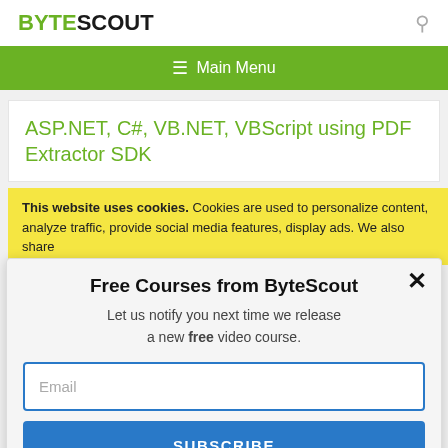BYTESCOUT
Main Menu
ASP.NET, C#, VB.NET, VBScript using PDF Extractor SDK
This website uses cookies. Cookies are used to personalize content, analyze traffic, provide social media features, display ads. We also share
Free Courses from ByteScout
Let us notify you next time we release a new free video course.
Email
SUBSCRIBE